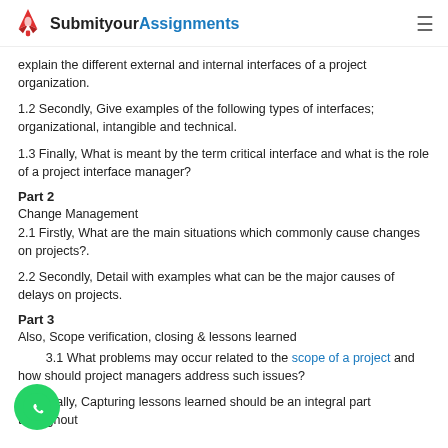SubmityourAssignments
explain the different external and internal interfaces of a project organization.
1.2 Secondly, Give examples of the following types of interfaces; organizational, intangible and technical.
1.3 Finally, What is meant by the term critical interface and what is the role of a project interface manager?
Part 2
Change Management
2.1 Firstly, What are the main situations which commonly cause changes on projects?.
2.2 Secondly, Detail with examples what can be the major causes of delays on projects.
Part 3
Also, Scope verification, closing & lessons learned
3.1 What problems may occur related to the scope of a project and how should project managers address such issues?
3.2 Finally, Capturing lessons learned should be an integral part throughout